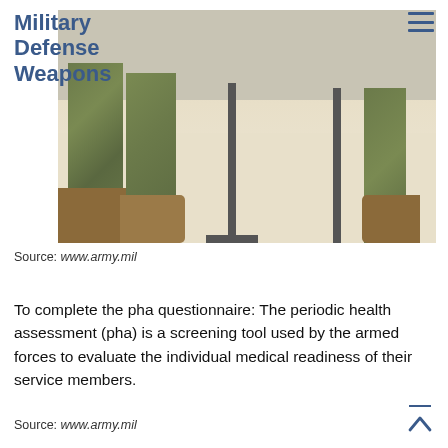Military Defense Weapons
[Figure (photo): Photo showing military soldiers in camouflage uniforms and combat boots standing in what appears to be an indoor facility with a light-colored tiled floor and table furniture visible]
Source: www.army.mil
To complete the pha questionnaire: The periodic health assessment (pha) is a screening tool used by the armed forces to evaluate the individual medical readiness of their service members.
Source: www.army.mil